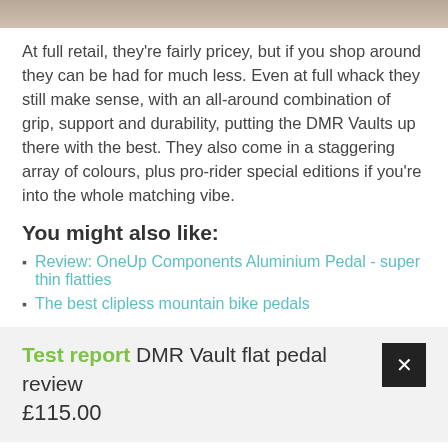[Figure (photo): Partial photo at top of page, cropped mountain bike product image]
At full retail, they're fairly pricey, but if you shop around they can be had for much less. Even at full whack they still make sense, with an all-around combination of grip, support and durability, putting the DMR Vaults up there with the best. They also come in a staggering array of colours, plus pro-rider special editions if you're into the whole matching vibe.
You might also like:
Review: OneUp Components Aluminium Pedal - super thin flatties
The best clipless mountain bike pedals
Test report DMR Vault flat pedal review £115.00
Jon Woodhouse